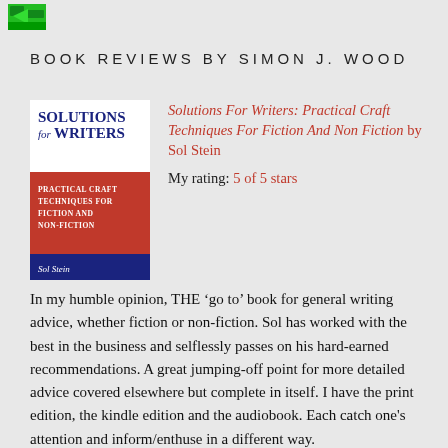BOOK REVIEWS BY SIMON J. WOOD
[Figure (illustration): Book cover of Solutions For Writers: Practical Craft Techniques For Fiction And Non-fiction by Sol Stein. Cover shows red background with blue text block at bottom with author name.]
Solutions For Writers: Practical Craft Techniques For Fiction And Non Fiction by Sol Stein
My rating: 5 of 5 stars
In my humble opinion, THE 'go to' book for general writing advice, whether fiction or non-fiction. Sol has worked with the best in the business and selflessly passes on his hard-earned recommendations. A great jumping-off point for more detailed advice covered elsewhere but complete in itself. I have the print edition, the kindle edition and the audiobook. Each catch one's attention and inform/enthuse in a different way.